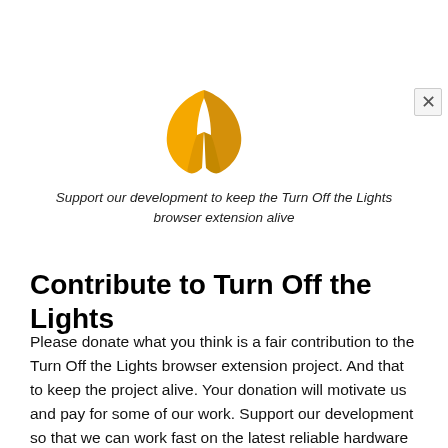[Figure (illustration): Golden/yellow awareness ribbon logo centered at top of page]
Support our development to keep the Turn Off the Lights browser extension alive
Contribute to Turn Off the Lights
Please donate what you think is a fair contribution to the Turn Off the Lights browser extension project. And that to keep the project alive. Your donation will motivate us and pay for some of our work. Support our development so that we can work fast on the latest reliable hardware that can support Windows 11,